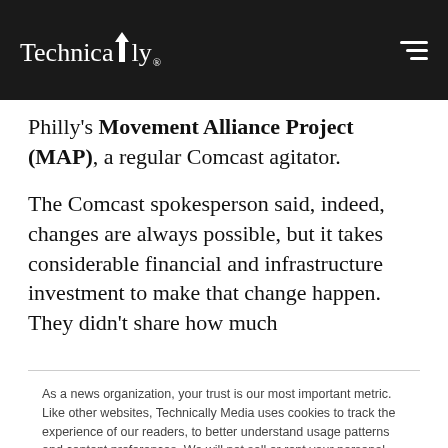Technically
Philly's Movement Alliance Project (MAP), a regular Comcast agitator.
The Comcast spokesperson said, indeed, changes are always possible, but it takes considerable financial and infrastructure investment to make that change happen. They didn't share how much
As a news organization, your trust is our most important metric. Like other websites, Technically Media uses cookies to track the experience of our readers, to better understand usage patterns and content preferences. We will not sell or rent your personal information to third parties. For more information or to contact us, read our entire Ethics & Privacy Policy.
Close